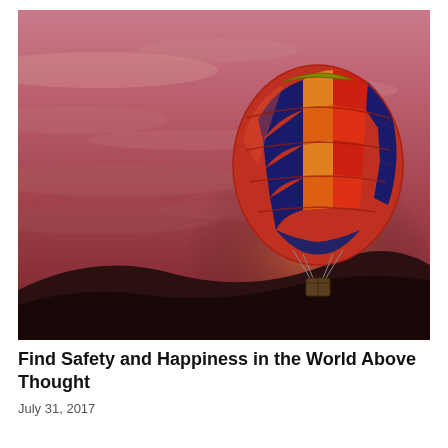[Figure (photo): A colorful hot air balloon with a red, orange, and dark blue checkered pattern floats against a dramatic pink and red sunset sky. The balloon is positioned in the right half of the image, with dark silhouetted hills visible at the bottom.]
Find Safety and Happiness in the World Above Thought
July 31, 2017